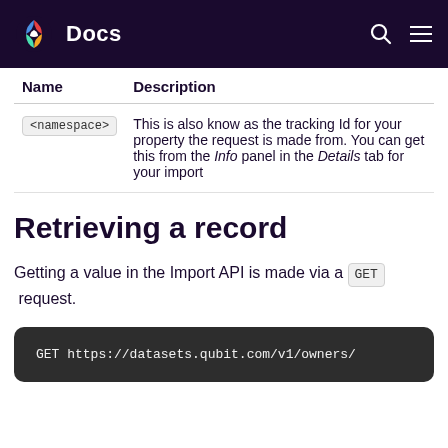Docs
| Name | Description |
| --- | --- |
| <namespace> | This is also know as the tracking Id for your property the request is made from. You can get this from the Info panel in the Details tab for your import |
Retrieving a record
Getting a value in the Import API is made via a GET request.
GET https://datasets.qubit.com/v1/owners/